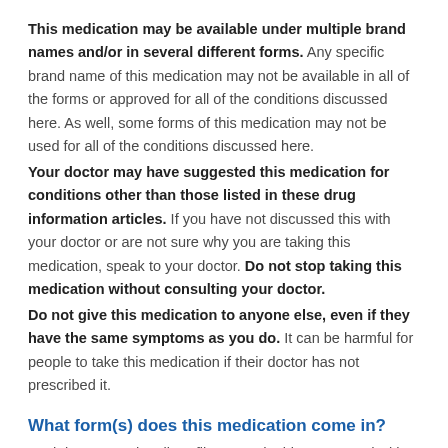This medication may be available under multiple brand names and/or in several different forms. Any specific brand name of this medication may not be available in all of the forms or approved for all of the conditions discussed here. As well, some forms of this medication may not be used for all of the conditions discussed here.
Your doctor may have suggested this medication for conditions other than those listed in these drug information articles. If you have not discussed this with your doctor or are not sure why you are taking this medication, speak to your doctor. Do not stop taking this medication without consulting your doctor.
Do not give this medication to anyone else, even if they have the same symptoms as you do. It can be harmful for people to take this medication if their doctor has not prescribed it.
What form(s) does this medication come in?
Each butterscotch yellow, film-coated tablet, engraved with